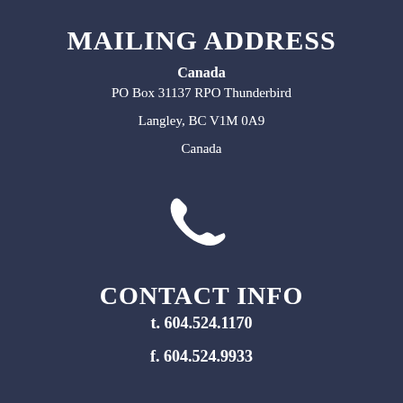MAILING ADDRESS
Canada
PO Box 31137 RPO Thunderbird
Langley, BC V1M 0A9
Canada
[Figure (illustration): White telephone/phone handset icon on dark blue background]
CONTACT INFO
t. 604.524.1170
f. 604.524.9933